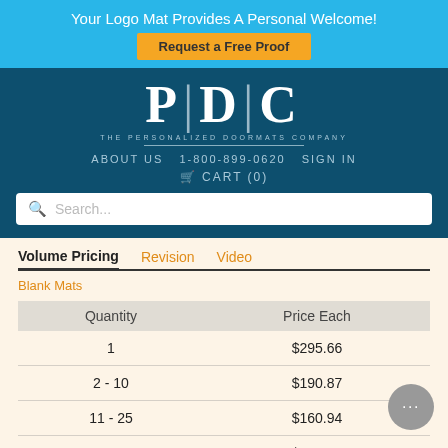Your Logo Mat Provides A Personal Welcome!
Request a Free Proof
[Figure (logo): PDC - The Personalized Doormats Company logo in white on dark teal background]
ABOUT US   1-800-899-0620   SIGN IN
🛒 CART (0)
Search...
Volume Pricing
Revision   Video
Blank Mats
| Quantity | Price Each |
| --- | --- |
| 1 | $295.66 |
| 2 - 10 | $190.87 |
| 11 - 25 | $160.94 |
| 26+ | $154.39 |